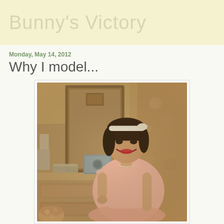Bunny's Victory
Monday, May 14, 2012
Why I model...
[Figure (photo): Vintage-style photograph of a young woman with dark hair wearing a pink ruffled dress and a white headband, sitting at a dressing table with a mirror, smiling at the camera. The photo has a retro, warm-toned quality.]